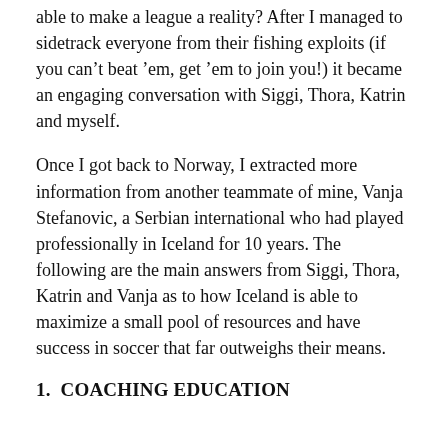able to make a league a reality? After I managed to sidetrack everyone from their fishing exploits (if you can't beat 'em, get 'em to join you!) it became an engaging conversation with Siggi, Thora, Katrin and myself.
Once I got back to Norway, I extracted more information from another teammate of mine, Vanja Stefanovic, a Serbian international who had played professionally in Iceland for 10 years. The following are the main answers from Siggi, Thora, Katrin and Vanja as to how Iceland is able to maximize a small pool of resources and have success in soccer that far outweighs their means.
1.  COACHING EDUCATION